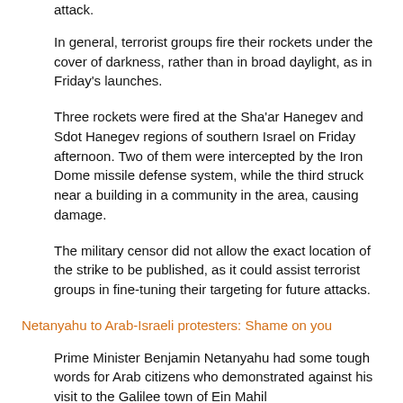attack.
In general, terrorist groups fire their rockets under the cover of darkness, rather than in broad daylight, as in Friday’s launches.
Three rockets were fired at the Sha’ar Hanegev and Sdot Hanegev regions of southern Israel on Friday afternoon. Two of them were intercepted by the Iron Dome missile defense system, while the third struck near a building in a community in the area, causing damage.
The military censor did not allow the exact location of the strike to be published, as it could assist terrorist groups in fine-tuning their targeting for future attacks.
Netanyahu to Arab-Israeli protesters: Shame on you
Prime Minister Benjamin Netanyahu had some tough words for Arab citizens who demonstrated against his visit to the Galilee town of Ein Mahil